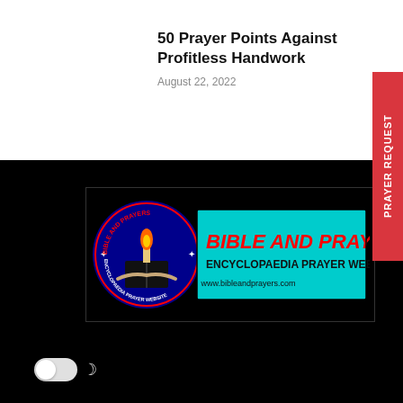50 Prayer Points Against Profitless Handwork
August 22, 2022
[Figure (logo): Bible and Prayers Encyclopaedia Prayer Website logo — circular badge on left with candle/book imagery and text 'BIBLE AND PRAYERS ENCYCLOPAEDIA PRAYER WEBSITE', alongside banner with same text in red bold letters on cyan background and website URL www.bibleandprayers.com]
PRAYER REQUEST